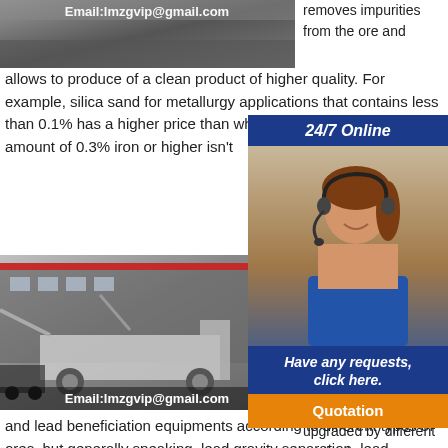[Figure (photo): Mining/industrial equipment image with email watermark at top]
removes impurities from the ore and allows to produce of a clean product of higher quality. For example, silica sand for metallurgy applications that contains less than 0.1% has a higher price than which includes 0.1%. But, an amount of 0.3% iron or higher isn't
[Figure (photo): Mobile mining/crushing equipment parked in front of industrial building with email watermark]
[Figure (infographic): 24/7 Online customer service overlay panel with photo of woman wearing headset, Have any requests click here, and Quotation button]
LEAD MINING EQUIPMENT GALLERY 2020 ore can be upgraded by different methods and lead beneficiation equipments according to different types of ores, but generally speaking, lead gravity separation, lead floatation separation, or combination of gravity separation and floatation separation can be involved in the lead processing line to get high